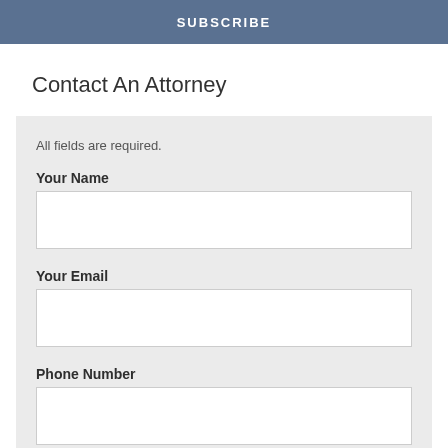SUBSCRIBE
Contact An Attorney
All fields are required.
Your Name
Your Email
Phone Number
Your Message